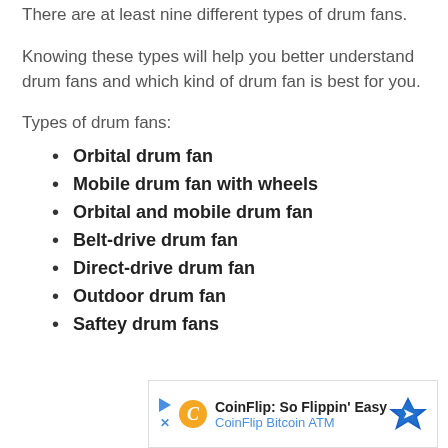There are at least nine different types of drum fans.
Knowing these types will help you better understand drum fans and which kind of drum fan is best for you.
Types of drum fans:
Orbital drum fan
Mobile drum fan with wheels
Orbital and mobile drum fan
Belt-drive drum fan
Direct-drive drum fan
Outdoor drum fan
Saftey drum fans
[Figure (other): Advertisement banner for CoinFlip Bitcoin ATM reading 'CoinFlip: So Flippin' Easy' and 'CoinFlip Bitcoin ATM' with a blue diamond arrow icon]